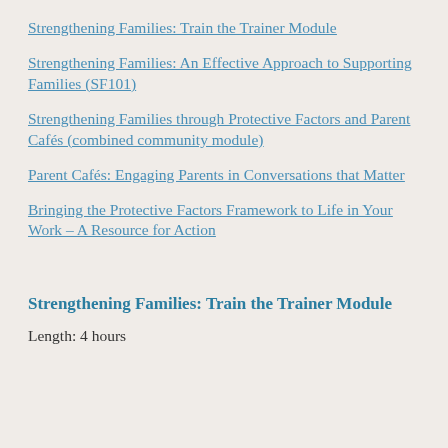Strengthening Families: Train the Trainer Module
Strengthening Families: An Effective Approach to Supporting Families (SF101)
Strengthening Families through Protective Factors and Parent Cafés (combined community module)
Parent Cafés: Engaging Parents in Conversations that Matter
Bringing the Protective Factors Framework to Life in Your Work – A Resource for Action
Strengthening Families: Train the Trainer Module
Length: 4 hours